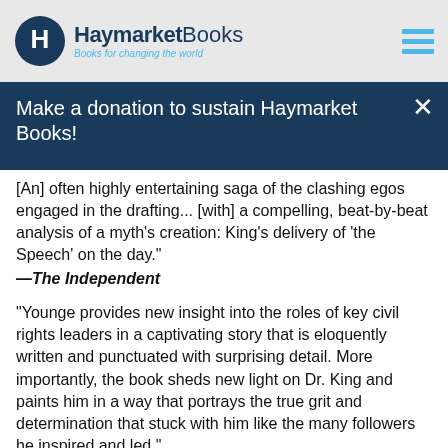Haymarket Books — Books for changing the world
Make a donation to sustain Haymarket Books!
[An] often highly entertaining saga of the clashing egos engaged in the drafting... [with] a compelling, beat-by-beat analysis of a myth's creation: King's delivery of 'the Speech' on the day." —The Independent
"Younge provides new insight into the roles of key civil rights leaders in a captivating story that is eloquently written and punctuated with surprising detail. More importantly, the book sheds new light on Dr. King and paints him in a way that portrays the true grit and determination that stuck with him like the many followers he inspired and led." —The Grio